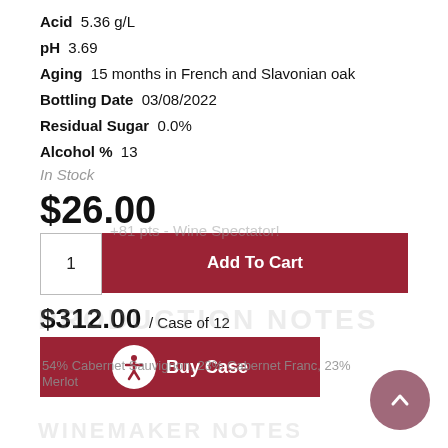Acid  5.36 g/L
pH  3.69
Aging  15 months in French and Slavonian oak
Bottling Date  03/08/2022
Residual Sugar  0.0%
Alcohol %  13
In Stock
$26.00
1   Add To Cart
$312.00 / Case of 12
Buy Case
54% Cabernet Sauvignon, 23% Cabernet Franc, 23% Merlot